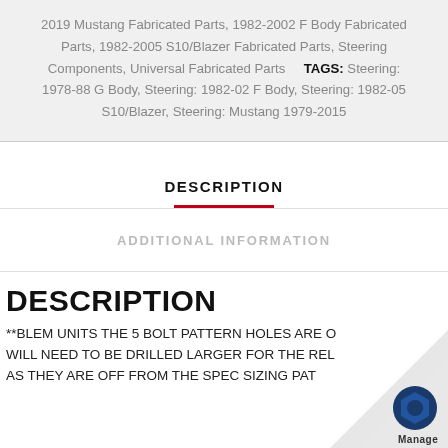2019 Mustang Fabricated Parts, 1982-2002 F Body Fabricated Parts, 1982-2005 S10/Blazer Fabricated Parts, Steering Components, Universal Fabricated Parts   TAGS: Steering: 1978-88 G Body, Steering: 1982-02 F Body, Steering: 1982-05 S10/Blazer, Steering: Mustang 1979-2015
DESCRIPTION
ADDITIONAL INFORMATION
DESCRIPTION
**BLEM UNITS THE 5 BOLT PATTERN HOLES ARE O... WILL NEED TO BE DRILLED LARGER FOR THE REL... AS THEY ARE OFF FROM THE SPEC SIZING PAT...